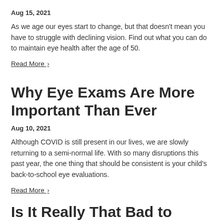Aug 15, 2021
As we age our eyes start to change, but that doesn't mean you have to struggle with declining vision. Find out what you can do to maintain eye health after the age of 50.
Read More ›
Why Eye Exams Are More Important Than Ever
Aug 10, 2021
Although COVID is still present in our lives, we are slowly returning to a semi-normal life. With so many disruptions this past year, the one thing that should be consistent is your child's back-to-school eye evaluations.
Read More ›
Is It Really That Bad to Sleep or